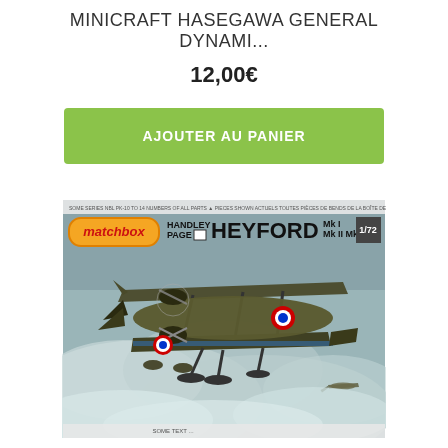MINICRAFT HASEGAWA GENERAL DYNAMI...
12,00€
AJOUTER AU PANIER
[Figure (photo): Matchbox model kit box art showing a Handley Page Heyford Mk I / Mk II / Mk III biplane bomber aircraft in flight over clouds, with a small silhouette aircraft in background. Box labeled MATCHBOX HANDLEY PAGE HEYFORD Mk I Mk II Mk III 1/72.]